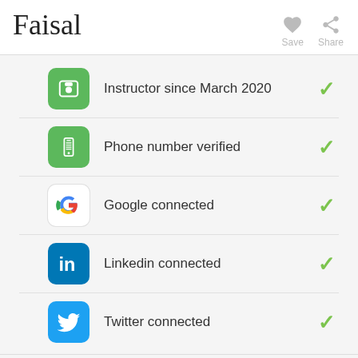Faisal
Instructor since March 2020
Phone number verified
Google connected
Linkedin connected
Twitter connected
Availability of a typical week
Contact Faisal